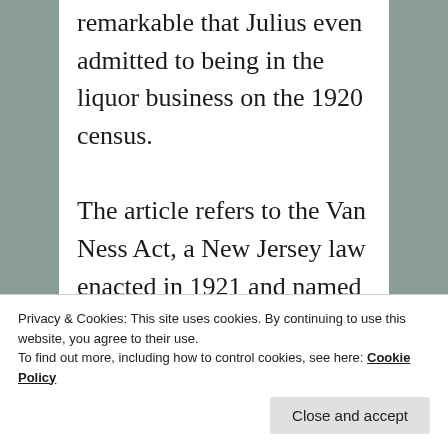remarkable that Julius even admitted to being in the liquor business on the 1920 census.
The article refers to the Van Ness Act, a New Jersey law enacted in 1921 and named for Jennie Van Ness, an ardent prohibitionist, New Jersey legislator, and women's suffrage activist. The law
Privacy & Cookies: This site uses cookies. By continuing to use this website, you agree to their use.
To find out more, including how to control cookies, see here: Cookie Policy
modeled after and intended to